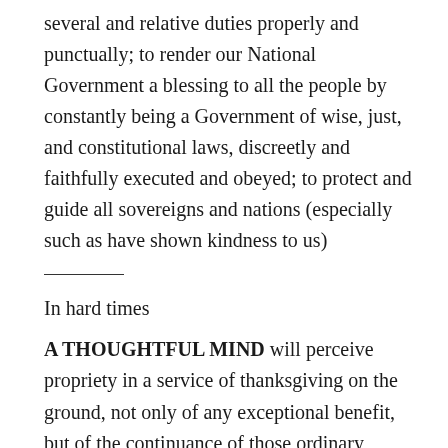several and relative duties properly and punctually; to render our National Government a blessing to all the people by constantly being a Government of wise, just, and constitutional laws, discreetly and faithfully executed and obeyed; to protect and guide all sovereigns and nations (especially such as have shown kindness to us)
In hard times
A THOUGHTFUL MIND will perceive propriety in a service of thanksgiving on the ground, not only of any exceptional benefit, but of the continuance of those ordinary blessings which give its gladness and beauty to life. The preservation of our life itself from casualty or from disease, which might have fallen upon it,